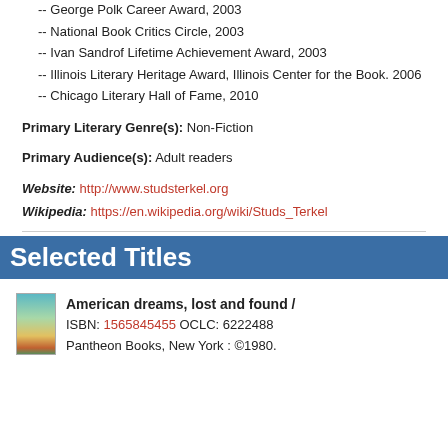-- George Polk Career Award, 2003
-- National Book Critics Circle, 2003
-- Ivan Sandrof Lifetime Achievement Award, 2003
-- Illinois Literary Heritage Award, Illinois Center for the Book. 2006
-- Chicago Literary Hall of Fame, 2010
Primary Literary Genre(s): Non-Fiction
Primary Audience(s): Adult readers
Website: http://www.studsterkel.org
Wikipedia: https://en.wikipedia.org/wiki/Studs_Terkel
Selected Titles
American dreams, lost and found / ISBN: 1565845455 OCLC: 6222488 Pantheon Books, New York : ©1980.